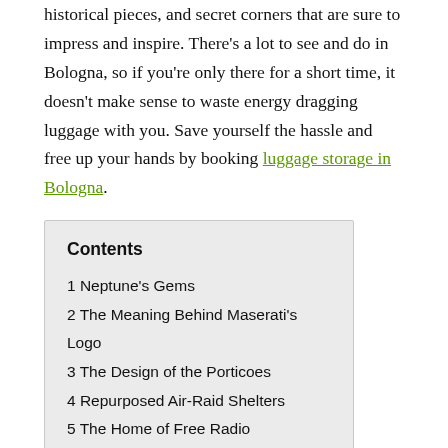historical pieces, and secret corners that are sure to impress and inspire. There's a lot to see and do in Bologna, so if you're only there for a short time, it doesn't make sense to waste energy dragging luggage with you. Save yourself the hassle and free up your hands by booking luggage storage in Bologna.
Contents
1 Neptune's Gems
2 The Meaning Behind Maserati's Logo
3 The Design of the Porticoes
4 Repurposed Air-Raid Shelters
5 The Home of Free Radio
6 Exploring Bologna